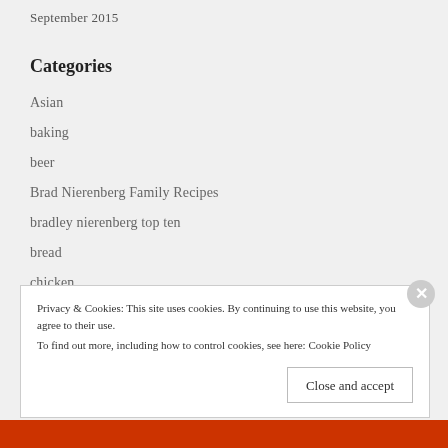September 2015
Categories
Asian
baking
beer
Brad Nierenberg Family Recipes
bradley nierenberg top ten
bread
chicken
comfort food
Privacy & Cookies: This site uses cookies. By continuing to use this website, you agree to their use.
To find out more, including how to control cookies, see here: Cookie Policy
Close and accept